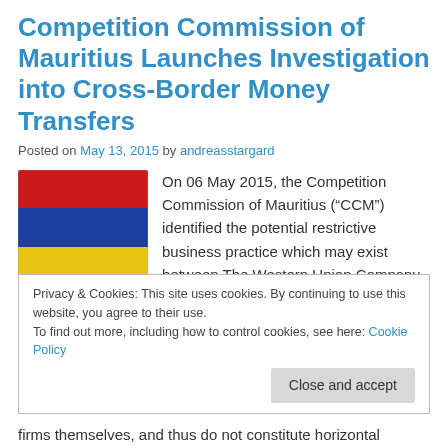Competition Commission of Mauritius Launches Investigation into Cross-Border Money Transfers
Posted on May 13, 2015 by andreasstargard
[Figure (illustration): Flag of Mauritius — four horizontal stripes: red, blue, yellow, green]
On 06 May 2015, the Competition Commission of Mauritius (“CCM”) identified the potential restrictive business practice which may exist between The Western Union Company (“Western Union”) and MoneyGram International Inc (“MoneyGram”) as a result of exclusive agreements (“Agreements”) put in place between the two companies.
Privacy & Cookies: This site uses cookies. By continuing to use this website, you agree to their use.
To find out more, including how to control cookies, see here: Cookie Policy
firms themselves, and thus do not constitute horizontal